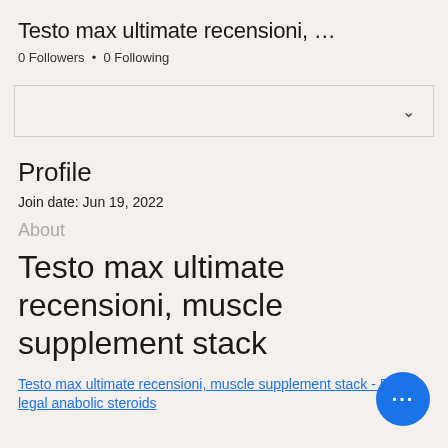Testo max ultimate recensioni, …
0 Followers • 0 Following
Profile
Join date: Jun 19, 2022
About
Testo max ultimate recensioni, muscle supplement stack
Testo max ultimate recensioni, muscle supplement stack - Buy legal anabolic steroids